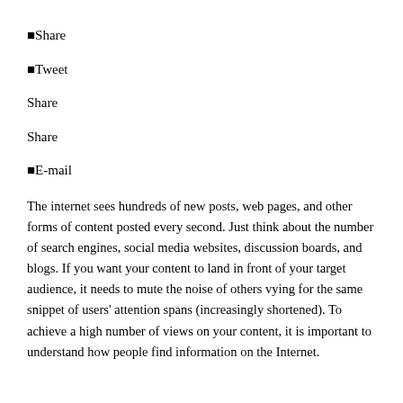Share
Tweet
Share
Share
E-mail
The internet sees hundreds of new posts, web pages, and other forms of content posted every second. Just think about the number of search engines, social media websites, discussion boards, and blogs. If you want your content to land in front of your target audience, it needs to mute the noise of others vying for the same snippet of users' attention spans (increasingly shortened). To achieve a high number of views on your content, it is important to understand how people find information on the Internet.